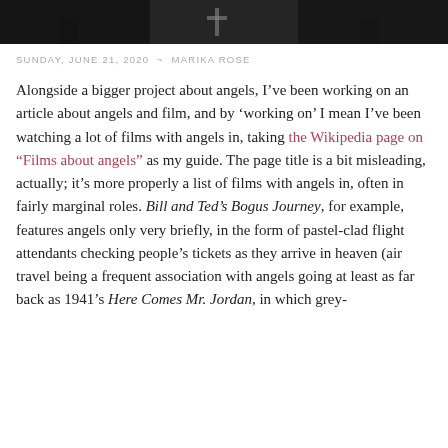[Figure (photo): Dark image with a cross/plus sign visible against a dark background, appears to be a movie still or promotional image related to angels]
SUNDAY, JUNE 21, 2020  ~  MARIKA ROSE
Alongside a bigger project about angels, I've been working on an article about angels and film, and by 'working on' I mean I've been watching a lot of films with angels in, taking the Wikipedia page on “Films about angels” as my guide. The page title is a bit misleading, actually; it’s more properly a list of films with angels in, often in fairly marginal roles. Bill and Ted’s Bogus Journey, for example, features angels only very briefly, in the form of pastel-clad flight attendants checking people’s tickets as they arrive in heaven (air travel being a frequent association with angels going at least as far back as 1941’s Here Comes Mr. Jordan, in which grey-